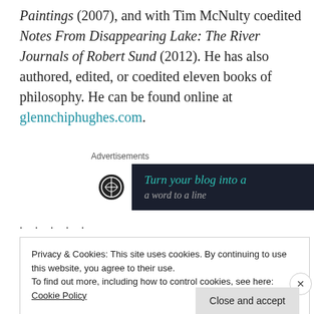Paintings (2007), and with Tim McNulty coedited Notes From Disappearing Lake: The River Journals of Robert Sund (2012). He has also authored, edited, or coedited eleven books of philosophy. He can be found online at glennchiphughes.com.
[Figure (other): Advertisement banner with dark background showing 'Turn your blog into a' text in teal italic font with a WordPress-style logo on the left and an arrow on the right]
. . . . .
Privacy & Cookies: This site uses cookies. By continuing to use this website, you agree to their use. To find out more, including how to control cookies, see here: Cookie Policy